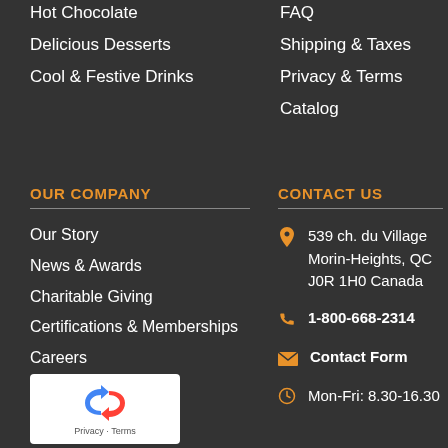Hot Chocolate
Delicious Desserts
Cool & Festive Drinks
FAQ
Shipping & Taxes
Privacy & Terms
Catalog
OUR COMPANY
Our Story
News & Awards
Charitable Giving
Certifications & Memberships
Careers
CONTACT US
539 ch. du Village
Morin-Heights, QC
J0R 1H0 Canada
1-800-668-2314
Contact Form
Mon-Fri: 8.30-16.30
[Figure (logo): reCAPTCHA logo with Privacy - Terms text]